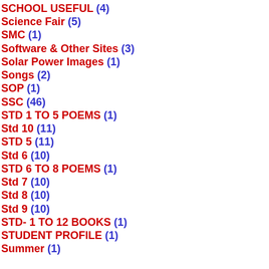SCHOOL USEFUL (4)
Science Fair (5)
SMC (1)
Software & Other Sites (3)
Solar Power Images (1)
Songs (2)
SOP (1)
SSC (46)
STD 1 TO 5 POEMS (1)
Std 10 (11)
STD 5 (11)
Std 6 (10)
STD 6 TO 8 POEMS (1)
Std 7 (10)
Std 8 (10)
Std 9 (10)
STD- 1 TO 12 BOOKS (1)
STUDENT PROFILE (1)
Summer (1)